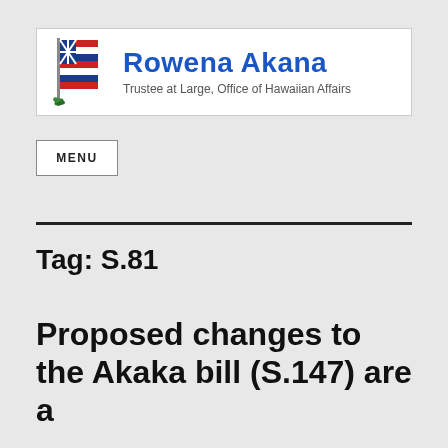[Figure (logo): Rowena Akana, Trustee at Large, Office of Hawaiian Affairs header banner with Hawaiian flag illustration on the left and blue bold name text with subtitle on the right]
MENU
Tag: S.81
Proposed changes to the Akaka bill (S.147) are a